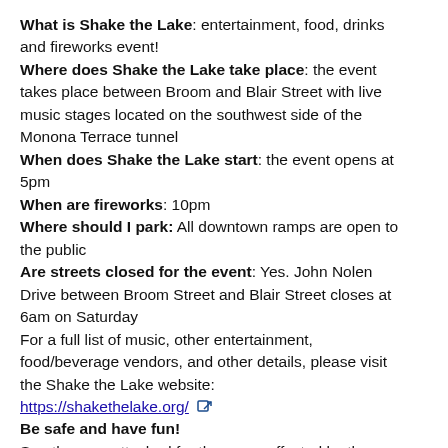What is Shake the Lake: entertainment, food, drinks and fireworks event!
Where does Shake the Lake take place: the event takes place between Broom and Blair Street with live music stages located on the southwest side of the Monona Terrace tunnel
When does Shake the Lake start:  the event opens at 5pm
When are fireworks: 10pm
Where should I park: All downtown ramps are open to the public
Are streets closed for the event:  Yes.  John Nolen Drive between Broom Street and Blair Street closes at 6am on Saturday
For a full list of music, other entertainment, food/beverage vendors, and other details, please visit the Shake the Lake website:
https://shakethelake.org/
Be safe and have fun!
See the map attached for the areas affected by the event.